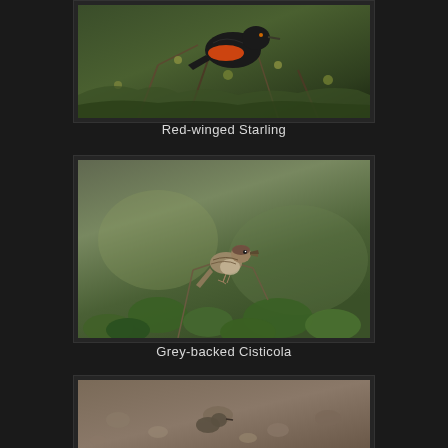[Figure (photo): Red-winged Starling bird perched among green shrubby branches, dark plumage with orange-red wing patch visible]
Red-winged Starling
[Figure (photo): Grey-backed Cisticola small bird perched on thin branch among green leafy shrubs, grey-brown streaked plumage, beak open]
Grey-backed Cisticola
[Figure (photo): Third bird photo partially visible at bottom, appears to be a ground bird on rocky/gravelly terrain, partially cropped]